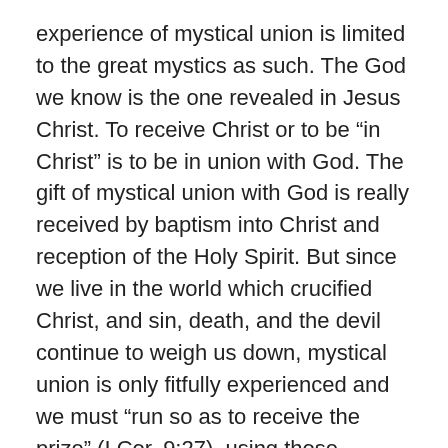experience of mystical union is limited to the great mystics as such. The God we know is the one revealed in Jesus Christ. To receive Christ or to be "in Christ" is to be in union with God. The gift of mystical union with God is really received by baptism into Christ and reception of the Holy Spirit. But since we live in the world which crucified Christ, and sin, death, and the devil continue to weigh us down, mystical union is only fitfully experienced and we must "run so as to receive the prize" (I Cor. 9:27), using those ascetical or spiritual disciplines that keep us alive in Christ.
About the “mystical experience”, therefore, we must say: It is available to ordinary believers and not just to the spiritually elite. It is available to anyone who knows the “mystery” of God: what St. Paul